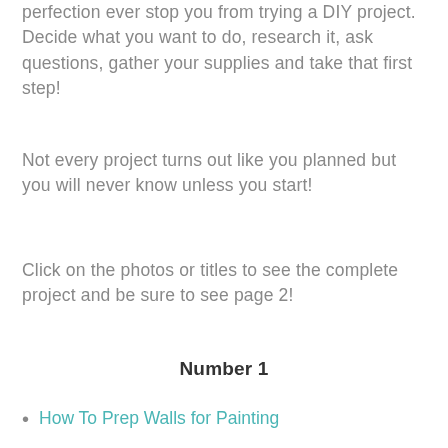perfection ever stop you from trying a DIY project. Decide what you want to do, research it, ask questions, gather your supplies and take that first step!
Not every project turns out like you planned but you will never know unless you start!
Click on the photos or titles to see the complete project and be sure to see page 2!
Number 1
How To Prep Walls for Painting